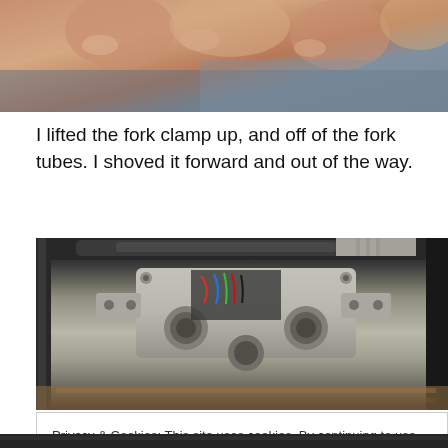[Figure (photo): Close-up photo of a hand holding a motorcycle fork clamp, showing fingers and skin tones with a blurred background.]
I lifted the fork clamp up, and off of the fork tubes. I shoved it forward and out of the way.
[Figure (photo): Photo of a motorcycle triple clamp/steering head area removed from fork tubes, showing metal hardware, wiring harness with colored wires, bolts, and machined aluminum parts on a wooden workbench.]
Privacy & Cookies: This site uses cookies. By continuing to use this website, you agree to their use.
To find out more, including how to control cookies, see here: Cookie Policy
Close and accept
[Figure (photo): Partial photo at bottom of page showing dark motorcycle parts.]